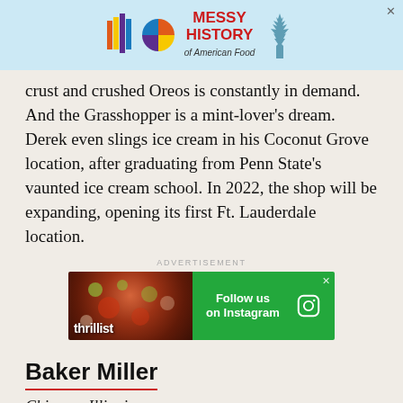[Figure (infographic): Advertisement banner: colorful logo on light blue background with text 'MESSY HISTORY of American Food' in red and Statue of Liberty image]
crust and crushed Oreos is constantly in demand. And the Grasshopper is a mint-lover's dream. Derek even slings ice cream in his Coconut Grove location, after graduating from Penn State's vaunted ice cream school. In 2022, the shop will be expanding, opening its first Ft. Lauderdale location.
ADVERTISEMENT
[Figure (infographic): Thrillist advertisement banner with food photo on left and green background on right with text 'Follow us on Instagram' and Instagram icon]
Baker Miller
Chicago, Illinois